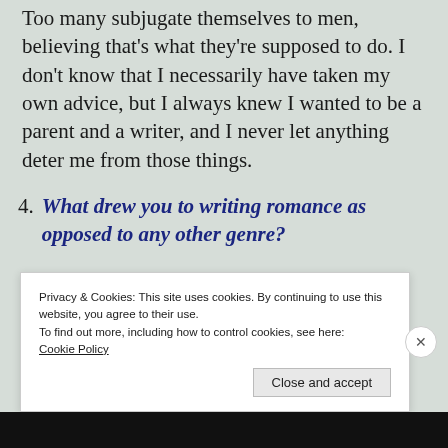Too many subjugate themselves to men, believing that's what they're supposed to do. I don't know that I necessarily have taken my own advice, but I always knew I wanted to be a parent and a writer, and I never let anything deter me from those things.
4. What drew you to writing romance as opposed to any other genre?
Privacy & Cookies: This site uses cookies. By continuing to use this website, you agree to their use. To find out more, including how to control cookies, see here: Cookie Policy